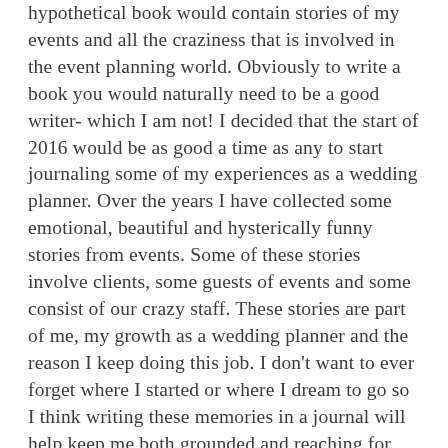hypothetical book would contain stories of my events and all the craziness that is involved in the event planning world. Obviously to write a book you would naturally need to be a good writer- which I am not! I decided that the start of 2016 would be as good a time as any to start journaling some of my experiences as a wedding planner. Over the years I have collected some emotional, beautiful and hysterically funny stories from events. Some of these stories involve clients, some guests of events and some consist of our crazy staff. These stories are part of me, my growth as a wedding planner and the reason I keep doing this job. I don't want to ever forget where I started or where I dream to go so I think writing these memories in a journal will help keep me both grounded and reaching for the stars.
Since today is the first day in the new year and follows a beautiful New Years Eve wedding, I thought this would be the perfect entry to reflect on my relationship with my clients. Honestly, this is one of the most important parts of my job. I am privileged to get to spend quality time with families through a very intimate moment in